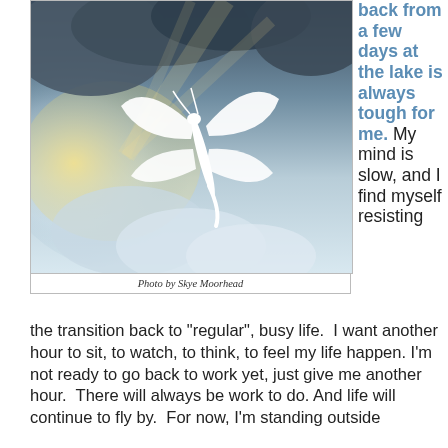[Figure (photo): A white dragonfly silhouette against a dramatic sky with clouds and sunlight rays]
Photo by Skye Moorhead
back from a few days at the lake is always tough for me. My mind is slow, and I find myself resisting the transition back to “regular”, busy life.  I want another hour to sit, to watch, to think, to feel my life happen. I’m not ready to go back to work yet, just give me another hour. There will always be work to do. And life will continue to fly by. For now, I’m standing outside